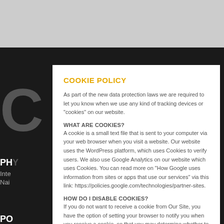COOKIE POLICY
As part of the new data protection laws we are required to let you know when we use any kind of tracking devices or "cookies" on our website.
WHAT ARE COOKIES?
A cookie is a small text file that is sent to your computer via your web browser when you visit a website. Our website uses the WordPress platform, which uses Cookies to verify users. We also use Google Analytics on our website which uses Cookies. You can read more on "How Google uses information from sites or apps that use our services" via this link: https://policies.google.com/technologies/partner-sites.
HOW DO I DISABLE COOKIES?
If you do not want to receive a cookie from Our Site, you have the option of setting your browser to notify you when you receive a cookie, so that you may determine whether to accept it or not.